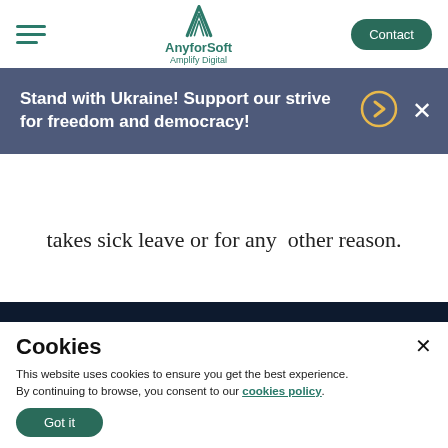AnyforSoft – Amplify Digital | Contact
[Figure (logo): AnyforSoft logo with text 'AnyforSoft' and tagline 'Amplify Digital' in teal/green color]
Stand with Ukraine! Support our strive for freedom and democracy!
takes sick leave or for any other reason.
Cookies
This website uses cookies to ensure you get the best experience. By continuing to browse, you consent to our cookies policy.